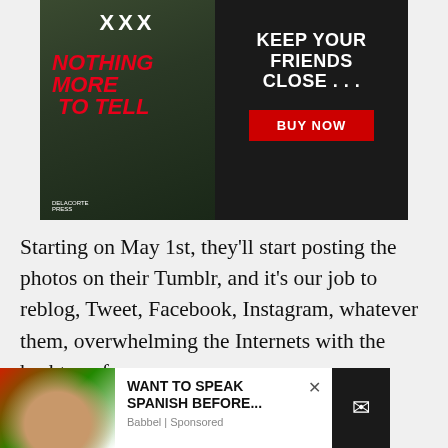[Figure (photo): Book advertisement banner for 'Nothing More to Tell' by Delacorte Press. Dark background with book cover on left showing red grunge text. Right side reads 'KEEP YOUR FRIENDS CLOSE...' in white bold text with a red 'BUY NOW' button.]
Starting on May 1st, they’ll start posting the photos on their Tumblr, and it’s our job to reblog, Tweet, Facebook, Instagram, whatever them, overwhelming the Internets with the hashtag of awesomeness,
[Figure (screenshot): Bottom advertisement banner. Left portion shows a woman with Mexican flag imagery. Center shows text 'WANT TO SPEAK SPANISH BEFORE...' with 'Babbel | Sponsored' below. Right side is dark with an envelope icon.]